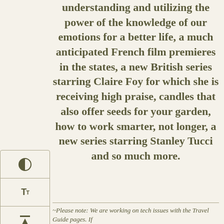understanding and utilizing the power of the knowledge of our emotions for a better life, a much anticipated French film premieres in the states, a new British series starring Claire Foy for which she is receiving high praise, candles that also offer seeds for your garden, how to work smarter, not longer, a new series starring Stanley Tucci and so much more.
~Please note: We are working on tech issues with the Travel Guide pages. If